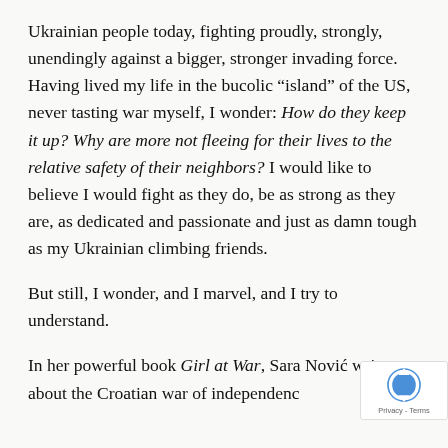Ukrainian people today, fighting proudly, strongly, unendingly against a bigger, stronger invading force. Having lived my life in the bucolic “island” of the US, never tasting war myself, I wonder: How do they keep it up? Why are more not fleeing for their lives to the relative safety of their neighbors? I would like to believe I would fight as they do, be as strong as they are, as dedicated and passionate and just as damn tough as my Ukrainian climbing friends.
But still, I wonder, and I marvel, and I try to understand.
In her powerful book Girl at War, Sara Nović writes about the Croatian war of independenc